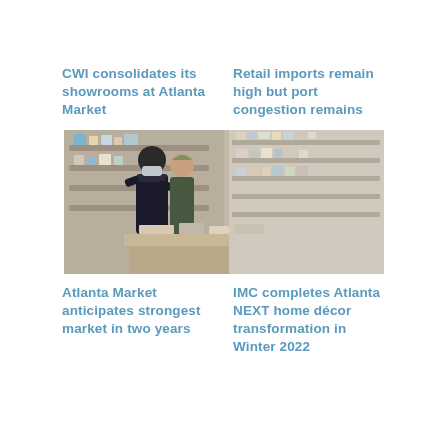CWI consolidates its showrooms at Atlanta Market
Retail imports remain high but port congestion remains
[Figure (photo): Two people in a store with shelves of products in the background; one person wearing a mask and dark jacket, another in a patterned dress]
Atlanta Market anticipates strongest market in two years
IMC completes Atlanta NEXT home décor transformation in Winter 2022